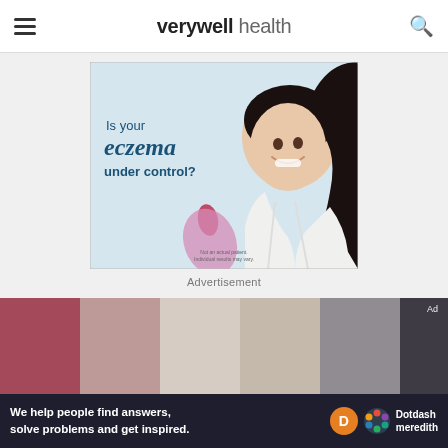verywell health
[Figure (illustration): Advertisement banner: Is your eczema under control? with a smiling woman and pink decorative shapes on a light blue background. Disclaimer: Not an actual patient. Individual results may vary.]
Advertisement
[Figure (photo): Cropped photo strip showing partial figures in a medical or office setting]
[Figure (infographic): Bottom banner: We help people find answers, solve problems and get inspired. Dotdash Meredith logo.]